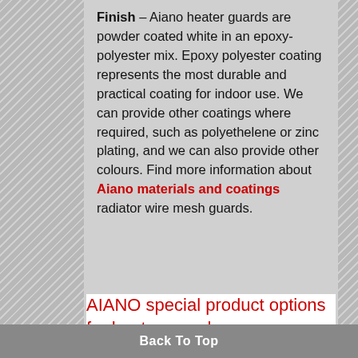Finish – Aiano heater guards are powder coated white in an epoxy-polyester mix. Epoxy polyester coating represents the most durable and practical coating for indoor use. We can provide other coatings where required, such as polyethelene or zinc plating, and we can also provide other colours. Find more information about Aiano materials and coatings radiator wire mesh guards.
AIANO special product options for heater guards
Back To Top